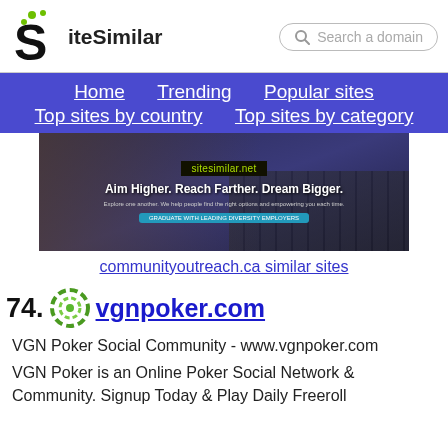[Figure (logo): SiteSimilar logo with green dots above S letter and 'iteSimilar' text]
Search a domain
Home   Trending   Popular sites   Top sites by country   Top sites by category
[Figure (screenshot): Screenshot of communityoutreach.ca website showing 'sitesimilar.net' tag, tagline 'Aim Higher. Reach Farther. Dream Bigger.' with keyboard background]
communityoutreach.ca similar sites
74. vgnpoker.com
VGN Poker Social Community - www.vgnpoker.com
VGN Poker is an Online Poker Social Network & Community. Signup Today & Play Daily Freeroll